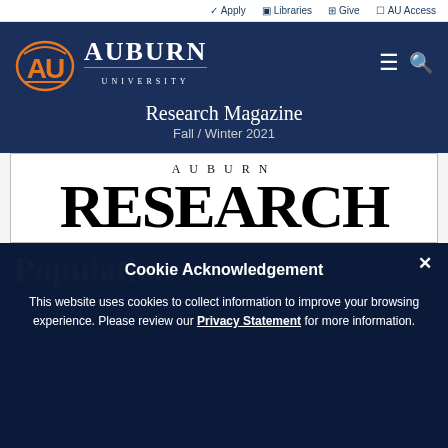Apply  Libraries  Give  AU Access
[Figure (logo): Auburn University logo with AU monogram in orange and navy, with wordmark AUBURN UNIVERSITY]
Research Magazine
Fall / Winter 2021
[Figure (logo): Auburn Research magazine cover showing AUBURN in small tracking letters above large bold RESEARCH text]
Cookie Acknowledgement
This website uses cookies to collect information to improve your browsing experience. Please review our Privacy Statement for more information.